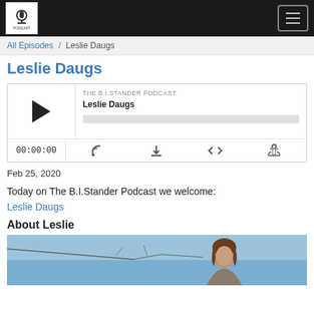THE B.I.STANDER PODCAST - Navigation bar with logo and hamburger menu
All Episodes / Leslie Daugs
Leslie Daugs
[Figure (other): Podcast player widget showing THE B.I.STANDER PODCAST episode 'Leslie Daugs' with play button, progress bar, time display 00:00:00, and controls for RSS, download, embed, and share]
Feb 25, 2020
Today on The B.I.Stander Podcast we welcome:
Leslie Daugs
About Leslie
[Figure (photo): Photo of Leslie Daugs, a woman with brown hair, against a blue sky background with tree branches visible]